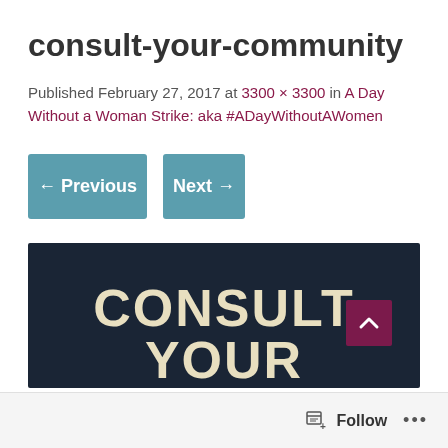consult-your-community
Published February 27, 2017 at 3300 × 3300 in A Day Without a Woman Strike: aka #ADayWithoutAWomen
← Previous
Next →
[Figure (photo): Dark navy background image with large bold cream/tan text reading 'CONSULT YOUR' at the bottom, with a dark magenta scroll-to-top button in the lower right corner.]
Follow ...